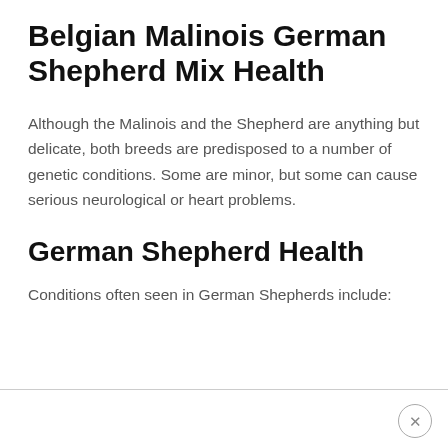Belgian Malinois German Shepherd Mix Health
Although the Malinois and the Shepherd are anything but delicate, both breeds are predisposed to a number of genetic conditions. Some are minor, but some can cause serious neurological or heart problems.
German Shepherd Health
Conditions often seen in German Shepherds include: